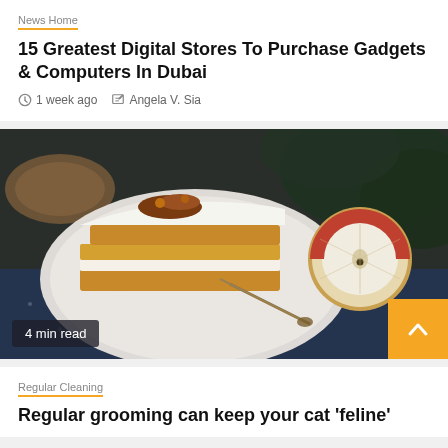News Home
15 Greatest Digital Stores To Purchase Gadgets & Computers In Dubai
1 week ago   Angela V. Sia
[Figure (photo): A slice of layered cake with white frosting and caramel toppings on a white plate, alongside a halved apple, on a dark blue textile background. Badge reads '4 min read'. Orange arrow button in bottom right corner.]
Regular Cleaning
Regular grooming can keep your cat 'feline'